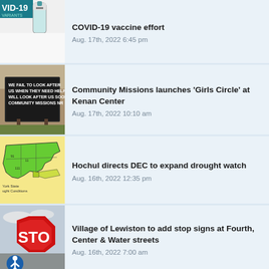[Figure (photo): COVID-19 vaccine vial on white background with VID-19 text and VARIANTS label]
COVID-19 vaccine effort
Aug. 17th, 2022 6:45 pm
[Figure (photo): Sign reading WE FAIL TO LOOK AFTER US WHEN THEY NEED HELP WILL LOOK AFTER US SOON COMMUNITY MISSIONS NR]
Community Missions launches 'Girls Circle' at Kenan Center
Aug. 17th, 2022 10:10 am
[Figure (map): New York State Drought Conditions map showing green and yellow regions]
Hochul directs DEC to expand drought watch
Aug. 16th, 2022 12:35 pm
[Figure (photo): Red STOP sign with cloudy sky background, accessibility icon in bottom left]
Village of Lewiston to add stop signs at Fourth, Center & Water streets
Aug. 16th, 2022 7:00 am
[Figure (photo): Partially visible thumbnail at bottom of page]